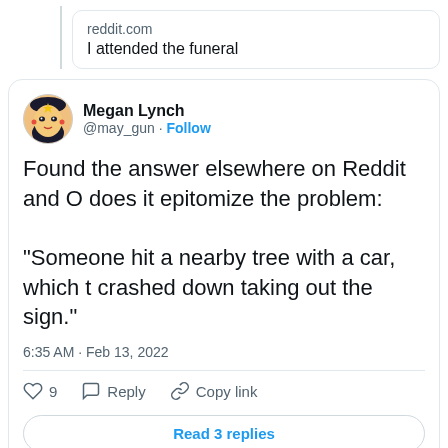[Figure (screenshot): Twitter/X screenshot showing a tweet by Megan Lynch (@may_gun) with a nested Reddit link preview and tweet text about finding an answer on Reddit about someone hitting a tree with a car that crashed down taking out a sign, timestamped 6:35 AM Feb 13, 2022, with 9 likes and a Read 3 replies button]
reddit.com
I attended the funeral
Megan Lynch
@may_gun · Follow
Found the answer elsewhere on Reddit and O does it epitomize the problem:
"Someone hit a nearby tree with a car, which t crashed down taking out the sign."
6:35 AM · Feb 13, 2022
9
Reply
Copy link
Read 3 replies
……….
Megan Lynch also forwards this news about a single bike rider blo